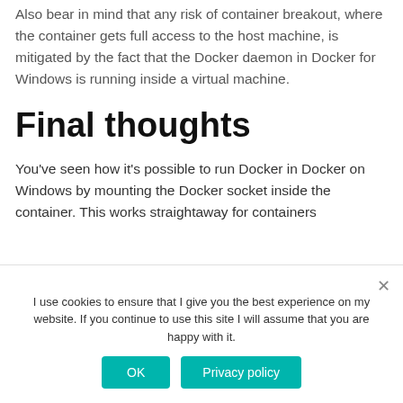Also bear in mind that any risk of container breakout, where the container gets full access to the host machine, is mitigated by the fact that the Docker daemon in Docker for Windows is running inside a virtual machine.
Final thoughts
You've seen how it's possible to run Docker in Docker on Windows by mounting the Docker socket inside the container. This works straightaway for containers
I use cookies to ensure that I give you the best experience on my website. If you continue to use this site I will assume that you are happy with it.